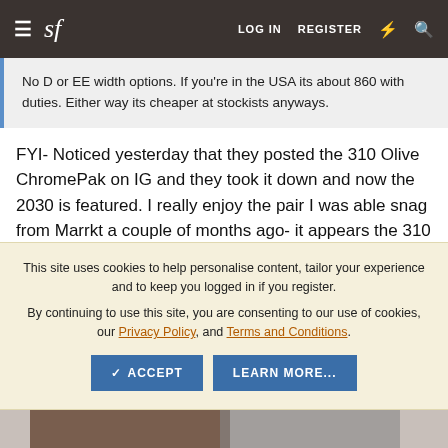sf  LOG IN  REGISTER
No D or EE width options. If you're in the USA its about 860 with duties. Either way its cheaper at stockists anyways.
FYI- Noticed yesterday that they posted the 310 Olive ChromePak on IG and they took it down and now the 2030 is featured. I really enjoy the pair I was able snag from Marrkt a couple of months ago- it appears the 310 will be in
This site uses cookies to help personalise content, tailor your experience and to keep you logged in if you register.
By continuing to use this site, you are consenting to our use of cookies, our Privacy Policy, and Terms and Conditions.
May 23, 2022  #45,730
[Figure (photo): Partial view of dark leather boots/shoes at the bottom of the page]